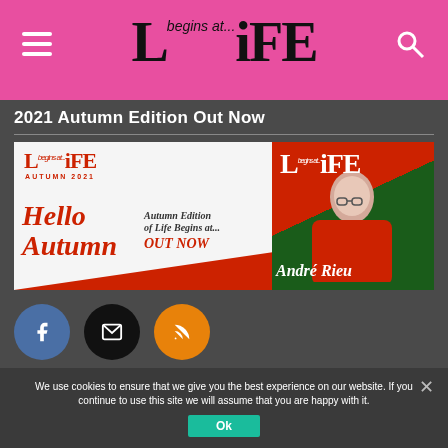begins at... LiFE
2021 Autumn Edition Out Now
[Figure (photo): Magazine banner showing Life Begins At... Autumn 2021 edition cover with 'Hello Autumn' text on left and Andre Rieu on right cover]
[Figure (infographic): Three social share buttons: Facebook (blue), Email (black), RSS feed (orange)]
We use cookies to ensure that we give you the best experience on our website. If you continue to use this site we will assume that you are happy with it.